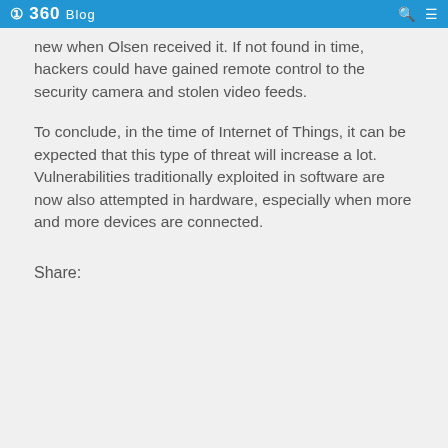360 Blog
new when Olsen received it. If not found in time, hackers could have gained remote control to the security camera and stolen video feeds.
To conclude, in the time of Internet of Things, it can be expected that this type of threat will increase a lot. Vulnerabilities traditionally exploited in software are now also attempted in hardware, especially when more and more devices are connected.
Share: